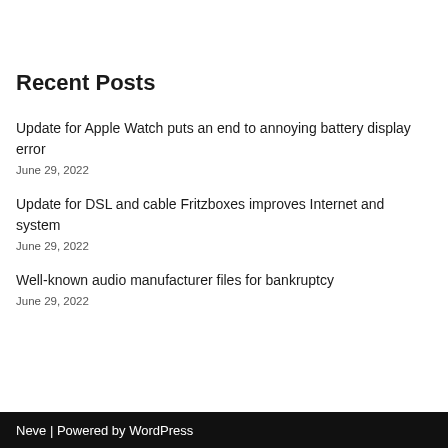Recent Posts
Update for Apple Watch puts an end to annoying battery display error
June 29, 2022
Update for DSL and cable Fritzboxes improves Internet and system
June 29, 2022
Well-known audio manufacturer files for bankruptcy
June 29, 2022
Neve | Powered by WordPress